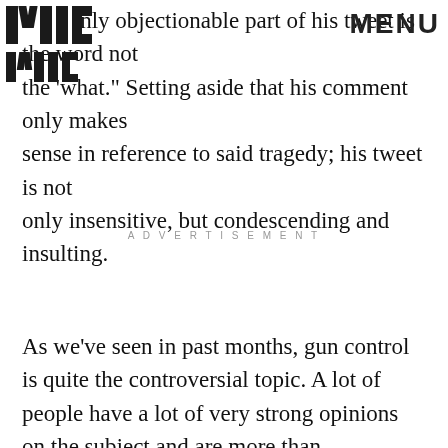[Figure (logo): MIC logo - bold blocky letters 'MIC' stacked]
MENU
only objectionable part of his tweet is the word not the 'what.' Setting aside that his comment only makes sense in reference to said tragedy; his tweet is not only insensitive, but condescending and insulting.
ADVERTISEMENT
As we've seen in past months, gun control is quite the controversial topic. A lot of people have a lot of very strong opinions on the subject and are more than